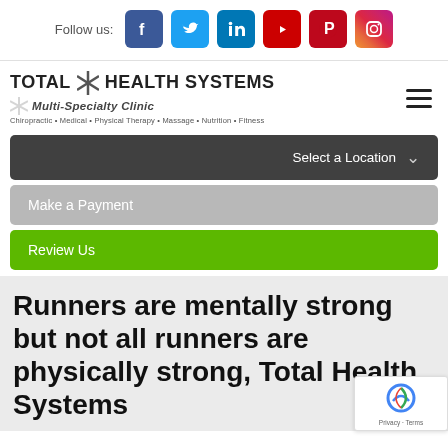Follow us: [Facebook] [Twitter] [LinkedIn] [YouTube] [Pinterest] [Instagram]
[Figure (logo): Total Health Systems Multi-Specialty Clinic logo with text: Chiropractic • Medical • Physical Therapy • Massage • Nutrition • Fitness]
Select a Location
Make a Payment
Review Us
Runners are mentally strong but not all runners are physically strong, Total Health Systems